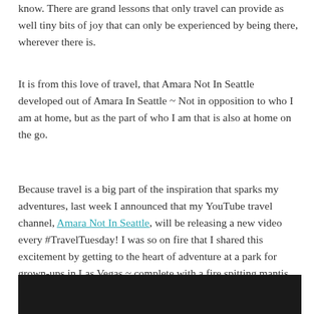know. There are grand lessons that only travel can provide as well tiny bits of joy that can only be experienced by being there, wherever there is.
It is from this love of travel, that Amara Not In Seattle developed out of Amara In Seattle ~ Not in opposition to who I am at home, but as the part of who I am that is also at home on the go.
Because travel is a big part of the inspiration that sparks my adventures, last week I announced that my YouTube travel channel, Amara Not In Seattle, will be releasing a new video every #TravelTuesday! I was so on fire that I shared this excitement by getting to the heart of adventure at a park for grown-ups in Las Vegas ~ complete with a fire spitting mantis (really!).
[Figure (photo): Dark/black image bar at the bottom of the page, partially visible]